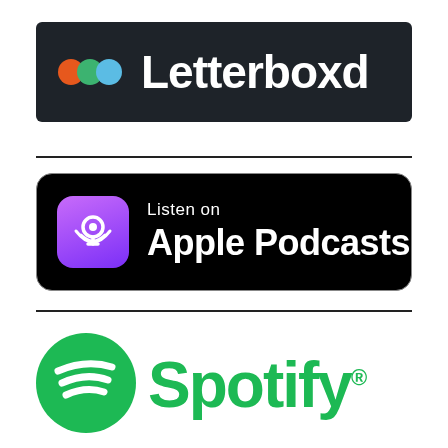[Figure (logo): Letterboxd logo on dark background with orange, green, and blue overlapping circles followed by white bold text 'Letterboxd']
[Figure (logo): Apple Podcasts badge: black rounded rectangle with purple podcast icon and white text 'Listen on Apple Podcasts']
[Figure (logo): Spotify logo: green circular icon with sound wave lines and green bold text 'Spotify' with registered trademark symbol, partially cropped]